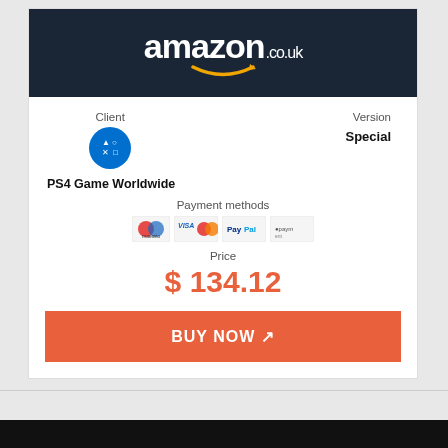[Figure (logo): Amazon.co.uk logo on dark navy background]
Client
[Figure (logo): PlayStation circular blue icon]
PS4 Game Worldwide
Version
Special
Payment methods
[Figure (illustration): Payment method icons: Maestro, Visa/Mastercard, PayPal, and another payment method]
Price
$ 134.12
BUY NOW ↗